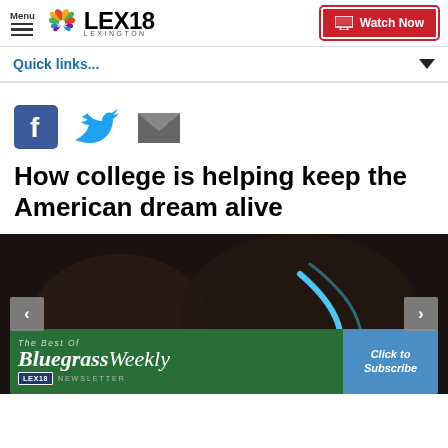Menu | LEX18 LEXINGTON | Watch Now
Quick links...
[Figure (screenshot): Social sharing icons: Facebook, Twitter, Email]
How college is helping keep the American dream alive
[Figure (photo): Dark image with blue arc shape, featuring The Best Of Bluegrass Weekly LEX18 Newsletter advertisement banner with Click to Subscribe button]